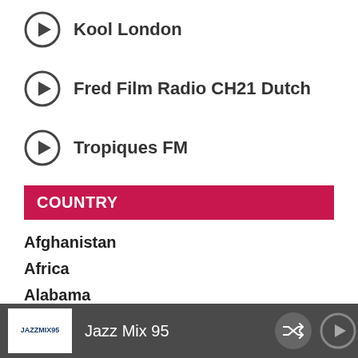Kool London
Fred Film Radio CH21 Dutch
Tropiques FM
COUNTRY
Afghanistan
Africa
Alabama
Alaska
Albania
Jazz Mix 95